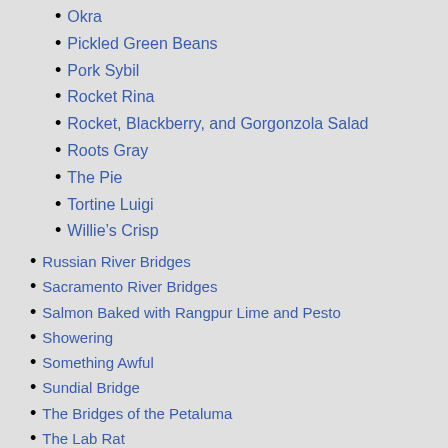Okra
Pickled Green Beans
Pork Sybil
Rocket Rina
Rocket, Blackberry, and Gorgonzola Salad
Roots Gray
The Pie
Tortine Luigi
Willie's Crisp
Russian River Bridges
Sacramento River Bridges
Salmon Baked with Rangpur Lime and Pesto
Showering
Something Awful
Sundial Bridge
The Bridges of the Petaluma
The Lab Rat
The Story of Z
The Wild Side
Facebook Breakthrough – 14 February 2014
Gazelle